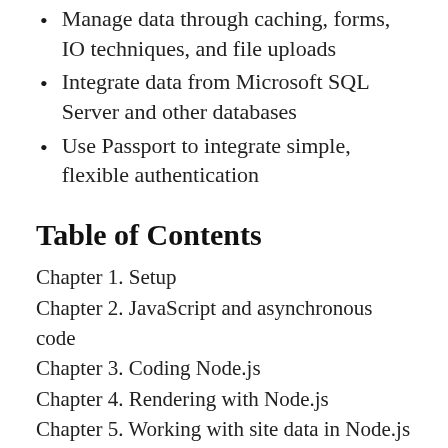Manage data through caching, forms, IO techniques, and file uploads
Integrate data from Microsoft SQL Server and other databases
Use Passport to integrate simple, flexible authentication
Table of Contents
Chapter 1. Setup
Chapter 2. JavaScript and asynchronous code
Chapter 3. Coding Node.js
Chapter 4. Rendering with Node.js
Chapter 5. Working with site data in Node.js